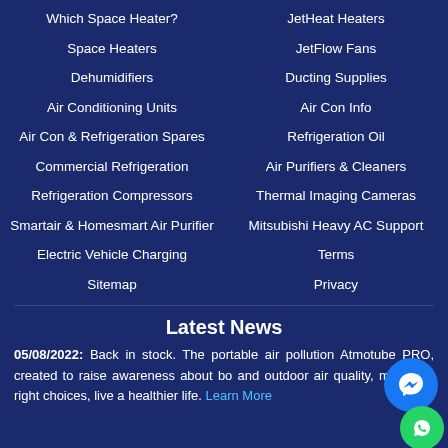Which Space Heater?
JetHeat Heaters
Space Heaters
JetFlow Fans
Dehumidifiers
Ducting Supplies
Air Conditioning Units
Air Con Info
Air Con & Refrigeration Spares
Refrigeration Oil
Commercial Refrigeration
Air Purifiers & Cleaners
Refrigeration Compressors
Thermal Imaging Cameras
Smartair & Homesmart Air Purifier
Mitsubishi Heavy AC Support
Electric Vehicle Charging
Terms
Sitemap
Privacy
Latest News
05/08/2022: Back in stock. The portable air pollution Atmotube PRO, created to raise awareness about bo and outdoor air quality, make the right choices, live a healthier life. Learn More